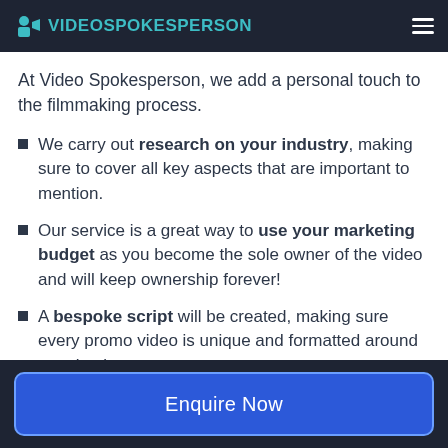VIDEO SPOKESPERSON
At Video Spokesperson, we add a personal touch to the filmmaking process.
We carry out research on your industry, making sure to cover all key aspects that are important to mention.
Our service is a great way to use your marketing budget as you become the sole owner of the video and will keep ownership forever!
A bespoke script will be created, making sure every promo video is unique and formatted around your business
Enquire Now